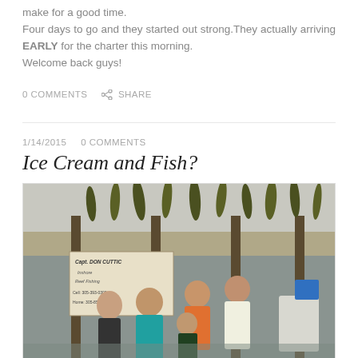make for a good time.
Four days to go and they started out strong.They actually arriving EARLY for the charter this morning.
Welcome back guys!
0 COMMENTS   SHARE
1/14/2015   0 COMMENTS
Ice Cream and Fish?
[Figure (photo): Group of people standing on a fishing boat dock with multiple large mahi-mahi fish hanging above them. Sign in background reads Capt. DON CUTTIC, Inshore Reef Fishing, Cell: 305-393-0308, Home: 305-853-5814]